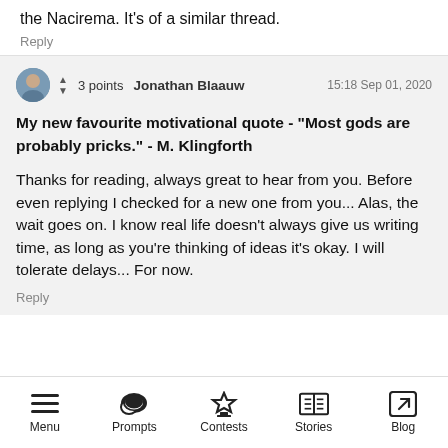the Nacirema. It's of a similar thread.
Reply
3 points  Jonathan Blaauw  15:18 Sep 01, 2020
My new favourite motivational quote - "Most gods are probably pricks." - M. Klingforth

Thanks for reading, always great to hear from you. Before even replying I checked for a new one from you... Alas, the wait goes on. I know real life doesn't always give us writing time, as long as you're thinking of ideas it's okay. I will tolerate delays... For now.
Reply
Menu  Prompts  Contests  Stories  Blog